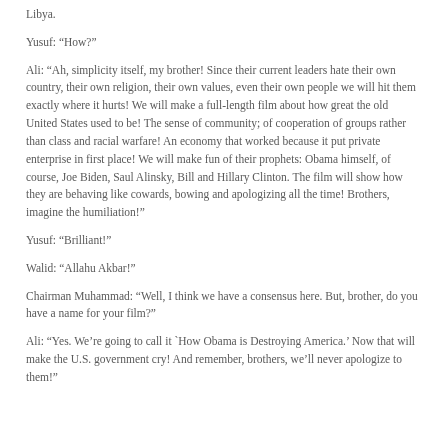Libya.
Yusuf: “How?”
Ali: “Ah, simplicity itself, my brother! Since their current leaders hate their own country, their own religion, their own values, even their own people we will hit them exactly where it hurts! We will make a full-length film about how great the old United States used to be! The sense of community; of cooperation of groups rather than class and racial warfare! An economy that worked because it put private enterprise in first place! We will make fun of their prophets: Obama himself, of course, Joe Biden, Saul Alinsky, Bill and Hillary Clinton. The film will show how they are behaving like cowards, bowing and apologizing all the time! Brothers, imagine the humiliation!”
Yusuf: “Brilliant!”
Walid: “Allahu Akbar!”
Chairman Muhammad: “Well, I think we have a consensus here. But, brother, do you have a name for your film?”
Ali: “Yes. We’re going to call it `How Obama is Destroying America.’ Now that will make the U.S. government cry! And remember, brothers, we’ll never apologize to them!”